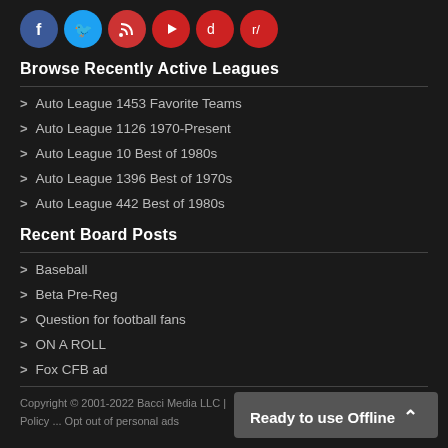[Figure (other): Social media icons row: Facebook (blue), Twitter (light blue), RSS (red), YouTube (red), Discord (red), Reddit (red)]
Browse Recently Active Leagues
Auto League 1453 Favorite Teams
Auto League 1126 1970-Present
Auto League 10 Best of 1980s
Auto League 1396 Best of 1970s
Auto League 442 Best of 1980s
Recent Board Posts
Baseball
Beta Pre-Reg
Question for football fans
ON A ROLL
Fox CFB ad
Copyright © 2001-2022 Bacci Media LLC | Policy ... Opt out of personal ads